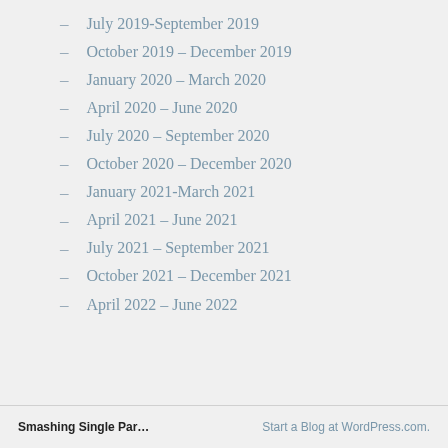July 2019-September 2019
October 2019 – December 2019
January 2020 – March 2020
April 2020 – June 2020
July 2020 – September 2020
October 2020 – December 2020
January 2021-March 2021
April 2021 – June 2021
July 2021 – September 2021
October 2021 – December 2021
April 2022 – June 2022
Smashing Single Par… | Start a Blog at WordPress.com.